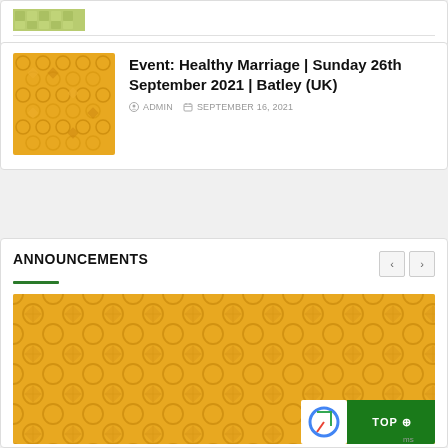[Figure (photo): Small thumbnail image with green/olive colored Islamic geometric pattern texture, partially visible at top of page]
[Figure (photo): Gold/yellow colored Islamic geometric pattern texture square thumbnail image]
Event: Healthy Marriage | Sunday 26th September 2021 | Batley (UK)
ADMIN  SEPTEMBER 16, 2021
ANNOUNCEMENTS
[Figure (photo): Large gold/yellow colored Islamic geometric pattern texture image, wide banner format]